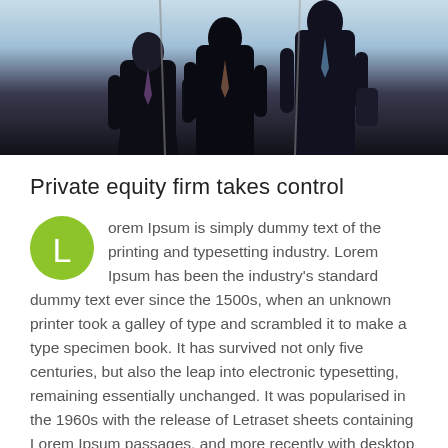[Figure (photo): Three businessmen in dark suits standing outdoors against a light sky background, shown from the torso down, silhouetted.]
Private equity firm takes control
Lorem Ipsum is simply dummy text of the printing and typesetting industry. Lorem Ipsum has been the industry's standard dummy text ever since the 1500s, when an unknown printer took a galley of type and scrambled it to make a type specimen book. It has survived not only five centuries, but also the leap into electronic typesetting, remaining essentially unchanged. It was popularised in the 1960s with the release of Letraset sheets containing Lorem Ipsum passages, and more recently with desktop publishing software like Aldus